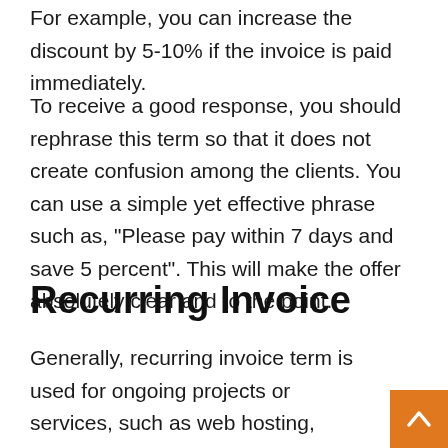For example, you can increase the discount by 5-10% if the invoice is paid immediately.
To receive a good response, you should rephrase this term so that it does not create confusion among the clients. You can use a simple yet effective phrase such as, “Please pay within 7 days and save 5 percent”. This will make the offer absolutely clear and to the point.
Recurring Invoice
Generally, recurring invoice term is used for ongoing projects or services, such as web hosting, membership, or any kind of subscription which requires payment of the same amount each month.